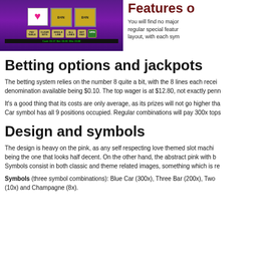[Figure (screenshot): Screenshot of a slot machine game with pink/purple theme showing heart symbol on reels and betting buttons]
Features o
You will find no major regular special features layout, with each sym
Betting options and jackpots
The betting system relies on the number 8 quite a bit, with the 8 lines each receiving denomination available being $0.10. The top wager is at $12.80, not exactly penn
It's a good thing that its costs are only average, as its prizes will not go higher tha Car symbol has all 9 positions occupied. Regular combinations will pay 300x tops
Design and symbols
The design is heavy on the pink, as any self respecting love themed slot machi being the one that looks half decent. On the other hand, the abstract pink with b Symbols consist in both classic and theme related images, something which is re
Symbols (three symbol combinations): Blue Car (300x), Three Bar (200x), Two (10x) and Champagne (8x).